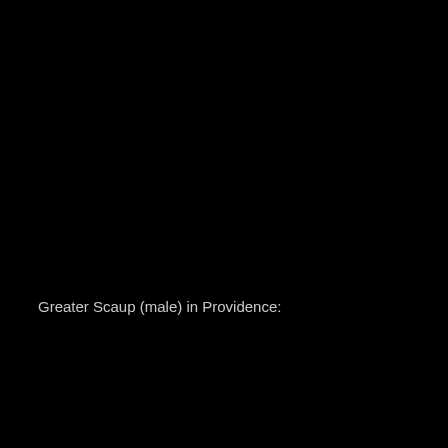[Figure (photo): Mostly black/dark image, appears to be a very dark photograph with barely visible subject matter (Greater Scaup male bird in Providence), essentially a near-black frame.]
Greater Scaup (male) in Providence: